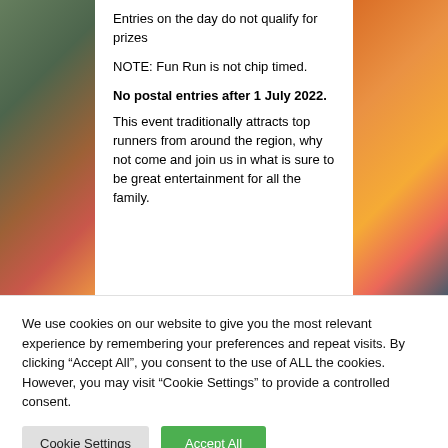Entries on the day do not qualify for prizes
NOTE: Fun Run is not chip timed.
No postal entries after 1 July 2022.
This event traditionally attracts top runners from around the region, why not come and join us in what is sure to be great entertainment for all the family.
We use cookies on our website to give you the most relevant experience by remembering your preferences and repeat visits. By clicking “Accept All”, you consent to the use of ALL the cookies. However, you may visit "Cookie Settings" to provide a controlled consent.